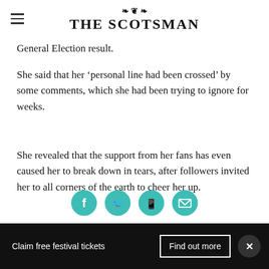THE SCOTSMAN
General Election result.
She said that her ‘personal line had been crossed’ by some comments, which she had been trying to ignore for weeks.
She revealed that the support from her fans has even caused her to break down in tears, after followers invited her to all corners of the earth to cheer her up.
[Figure (infographic): Four circular teal social media sharing icons: Facebook, Twitter, phone/share, and email.]
Claim free festival tickets   Find out more